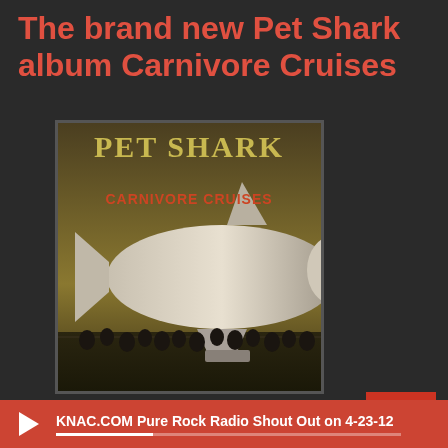The brand new Pet Shark album Carnivore Cruises
[Figure (illustration): Album cover for Pet Shark - Carnivore Cruises showing a shark-blimp hybrid creature flying over a field, with art deco text reading PET SHARK and CARNIVORE CRUISES]
BUY NOW
The first Pet Shark album Le
KNAC.COM Pure Rock Radio Shout Out on 4-23-12